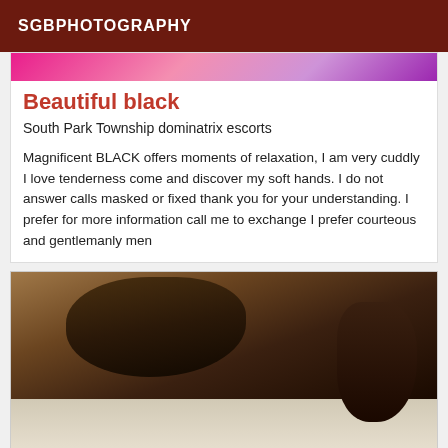SGBPHOTOGRAPHY
[Figure (photo): Pink and purple fabric/textile background image at top of card]
Beautiful black
South Park Township dominatrix escorts
Magnificent BLACK offers moments of relaxation, I am very cuddly I love tenderness come and discover my soft hands. I do not answer calls masked or fixed thank you for your understanding. I prefer for more information call me to exchange I prefer courteous and gentlemanly men
[Figure (photo): Photo of a woman with long dark hair sitting on a bed, viewed from behind]